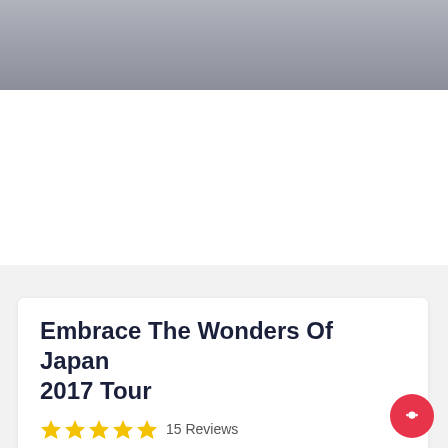[Figure (photo): Gray/silver gradient banner image at the top of a travel webpage]
Embrace The Wonders Of Japan 2017 Tour
★★★★★ 15 Reviews
Japan endless discovery